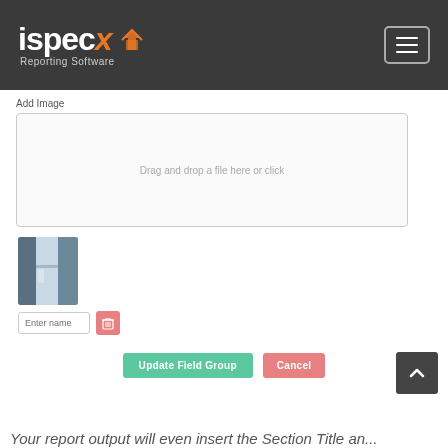[Figure (logo): ispecXR Reporting Software logo on dark header bar with hamburger menu button]
Add Image
[Figure (screenshot): Drag and drop file upload zone with text 'Drag and drop a file here or click']
[Figure (photo): Thumbnail of a bathroom/hallway image with blue-gray tones]
Enter name
Update Field Group   Cancel
Your report output will even insert the Section Title an...